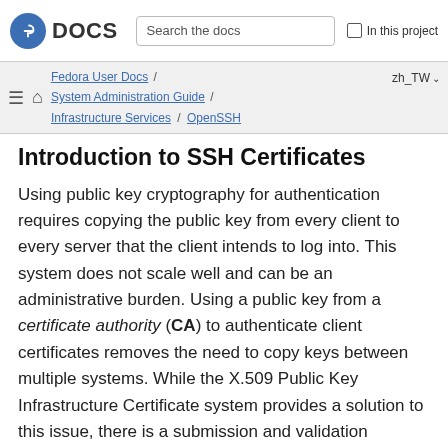DOCS | Search the docs | In this project
Fedora User Docs / System Administration Guide / Infrastructure Services / OpenSSH | zh_TW
Introduction to SSH Certificates
Using public key cryptography for authentication requires copying the public key from every client to every server that the client intends to log into. This system does not scale well and can be an administrative burden. Using a public key from a certificate authority (CA) to authenticate client certificates removes the need to copy keys between multiple systems. While the X.509 Public Key Infrastructure Certificate system provides a solution to this issue, there is a submission and validation process, with associated fees, to go